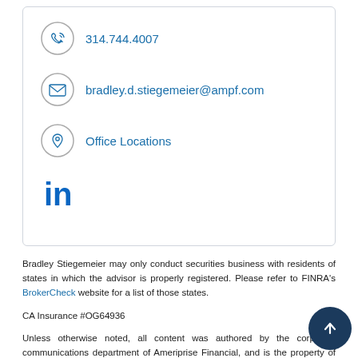314.744.4007
bradley.d.stiegemeier@ampf.com
Office Locations
[Figure (logo): LinkedIn logo icon in blue]
Bradley Stiegemeier may only conduct securities business with residents of states in which the advisor is properly registered. Please refer to FINRA's BrokerCheck website for a list of those states.
CA Insurance #OG64936
Unless otherwise noted, all content was authored by the corporate communications department of Ameriprise Financial, and is the property of Ameriprise Financial. Individual advisors have been granted permission to post content on this site, but are not the